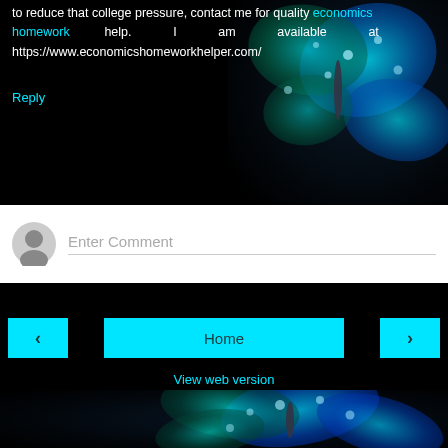to reduce that college pressure, contact me for quality economics homework help. I am available at https://www.economicshomeworkhelper.com/
Reply
[Figure (photo): Blue and teal butterfly with water droplets on dark background, top portion]
Enter Comment
< Home >
View web version
[Figure (photo): Blue and teal butterflies with water droplets on dark background, bottom portion]